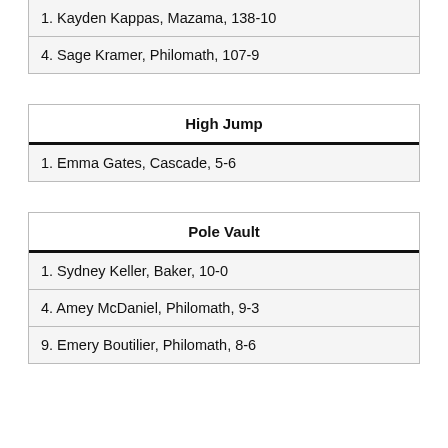1. Kayden Kappas, Mazama, 138-10
4. Sage Kramer, Philomath, 107-9
High Jump
1. Emma Gates, Cascade, 5-6
Pole Vault
1. Sydney Keller, Baker, 10-0
4. Amey McDaniel, Philomath, 9-3
9. Emery Boutilier, Philomath, 8-6